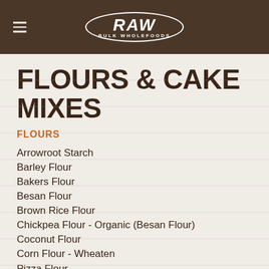RAW BULK WHOLEFOODS
FLOURS & CAKE MIXES
FLOURS
Arrowroot Starch
Barley Flour
Bakers Flour
Besan Flour
Brown Rice Flour
Chickpea Flour - Organic (Besan Flour)
Coconut Flour
Corn Flour - Wheaten
Pizza Flour
Plain Flour
Bread Crumbs - Gluten Free
Gluten Free White
Gluten Free Plain Flour
Gluten Free Self Raising Flour